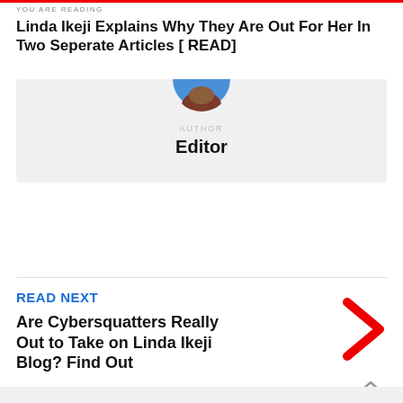YOU ARE READING
Linda Ikeji Explains Why They Are Out For Her In Two Seperate Articles [ READ]
[Figure (illustration): Author avatar — circular profile image showing a blue and brown/red abstract portrait, partially cropped showing only the bottom half]
AUTHOR
Editor
READ NEXT
Are Cybersquatters Really Out to Take on Linda Ikeji Blog? Find Out